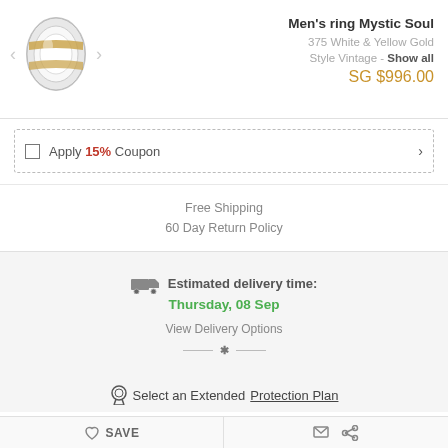[Figure (photo): Men's ring Mystic Soul product image - a silver and gold band ring]
Men's ring Mystic Soul
375 White & Yellow Gold
Style Vintage - Show all
SG $996.00
Apply 15% Coupon
Free Shipping
60 Day Return Policy
Estimated delivery time: Thursday, 08 Sep
View Delivery Options
Select an Extended Protection Plan
ADD TO SHOPPING BAG
SAVE